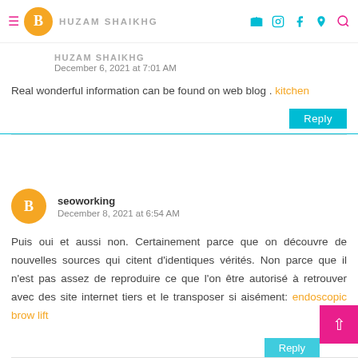HUZAM SHAIKHG
December 6, 2021 at 7:01 AM
Real wonderful information can be found on web blog . kitchen
Reply
seoworking
December 8, 2021 at 6:54 AM
Puis oui et aussi non. Certainement parce que on découvre de nouvelles sources qui citent d'identiques vérités. Non parce que il n'est pas assez de reproduire ce que l'on être autorisé à retrouver avec des site internet tiers et le transposer si aisément: endoscopic brow lift